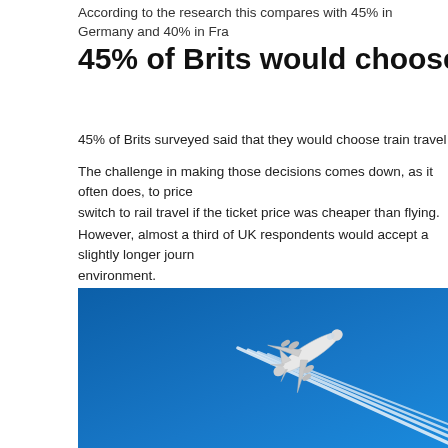According to the research this compares with 45% in Germany and 40% in Fra...
45% of Brits would choose train trave...
45% of Brits surveyed said that they would choose train travel over flying to ens...
The challenge in making those decisions comes down, as it often does, to price... switch to rail travel if the ticket price was cheaper than flying.
However, almost a third of UK respondents would accept a slightly longer journ... environment.
[Figure (photo): Aerial photograph of a large commercial airplane flying in a bright blue sky, leaving four white contrails behind it, viewed from below at an angle.]